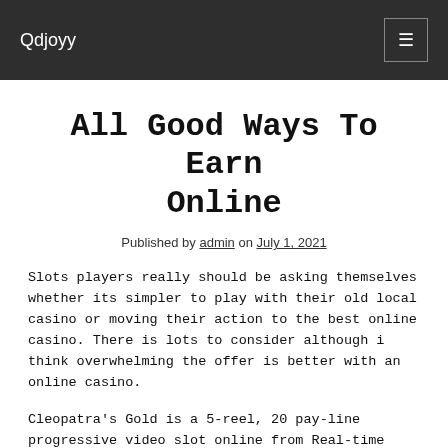Qdjoyy
All Good Ways To Earn Online
Published by admin on July 1, 2021
Slots players really should be asking themselves whether its simpler to play with their old local casino or moving their action to the best online casino. There is lots to consider although i think overwhelming the offer is better with an online casino.
Cleopatra's Gold is a 5-reel, 20 pay-line progressive video slot online from Real-time Gaming software application. It comes with wilds, scatters, 15 free spins